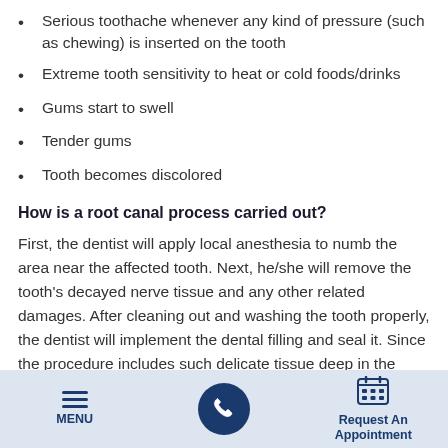Serious toothache whenever any kind of pressure (such as chewing) is inserted on the tooth
Extreme tooth sensitivity to heat or cold foods/drinks
Gums start to swell
Tender gums
Tooth becomes discolored
How is a root canal process carried out?
First, the dentist will apply local anesthesia to numb the area near the affected tooth. Next, he/she will remove the tooth's decayed nerve tissue and any other related damages. After cleaning out and washing the tooth properly, the dentist will implement the dental filling and seal it. Since the procedure includes such delicate tissue deep in the tooth, you may sense some kind of
MENU | [phone] | Request An Appointment